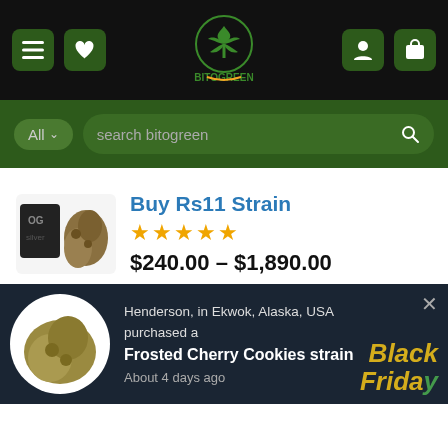[Figure (screenshot): BitoGreen website header with hamburger menu, heart icon, cannabis leaf logo with BITOGREEN text, user icon, and cart icon on black background]
[Figure (screenshot): Green search bar with All dropdown and search bitogreen placeholder text with magnifying glass icon]
Buy Rs11 Strain
★★★★★
$240.00 – $1,890.00
NYC Diesel strain
★★★★★
$70.00 – $1,300.00
Henderson, in Ekwok, Alaska, USA purchased a Frosted Cherry Cookies strain About 4 days ago